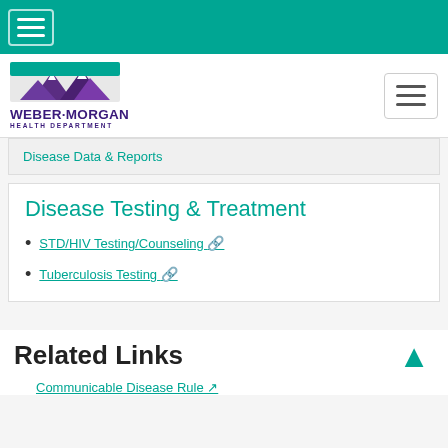Weber-Morgan Health Department navigation bar
[Figure (logo): Weber-Morgan Health Department logo with mountain illustration and purple text]
Disease Data & Reports
Disease Testing & Treatment
STD/HIV Testing/Counseling
Tuberculosis Testing
Related Links
Communicable Disease Rule